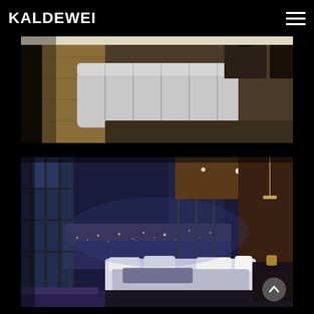KALDEWEI
[Figure (photo): Interior living room scene showing a white modular sofa/cushion arrangement on a wooden floor with a rug and dark furniture in the background, viewed from a low angle]
[Figure (photo): Luxury high-rise penthouse bedroom at night with floor-to-ceiling glass windows overlooking a city skyline at dusk, featuring a large white bed with pillows, dark architectural elements, and blue ambient lighting]